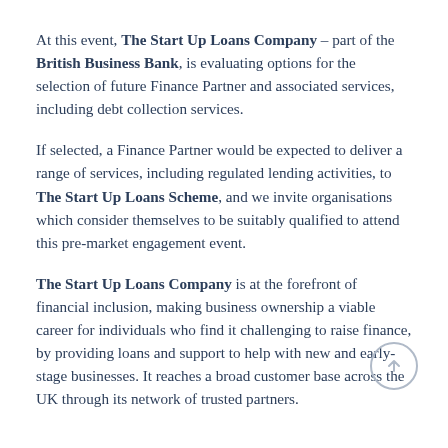At this event, The Start Up Loans Company – part of the British Business Bank, is evaluating options for the selection of future Finance Partner and associated services, including debt collection services.
If selected, a Finance Partner would be expected to deliver a range of services, including regulated lending activities, to The Start Up Loans Scheme, and we invite organisations which consider themselves to be suitably qualified to attend this pre-market engagement event.
The Start Up Loans Company is at the forefront of financial inclusion, making business ownership a viable career for individuals who find it challenging to raise finance, by providing loans and support to help with new and early-stage businesses. It reaches a broad customer base across the UK through its network of trusted partners.